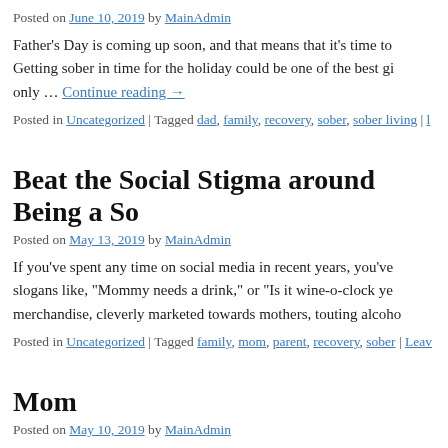Posted on June 10, 2019 by MainAdmin
Father’s Day is coming up soon, and that means that it’s time to Getting sober in time for the holiday could be one of the best gi only … Continue reading →
Posted in Uncategorized | Tagged dad, family, recovery, sober, sober living |
Beat the Social Stigma around Being a So
Posted on May 13, 2019 by MainAdmin
If you’ve spent any time on social media in recent years, you’ve slogans like, “Mommy needs a drink,” or “Is it wine-o-clock ye merchandise, cleverly marketed towards mothers, touting alcoho
Posted in Uncategorized | Tagged family, mom, parent, recovery, sober | Leav
Mom
Posted on May 10, 2019 by MainAdmin